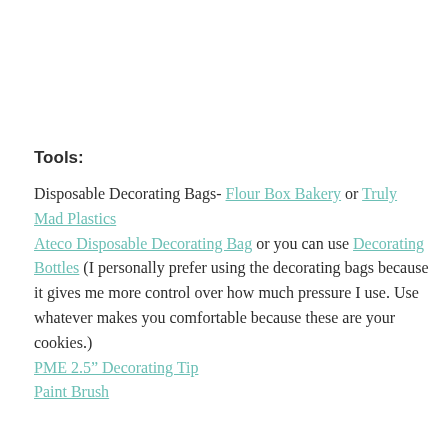Tools:
Disposable Decorating Bags- Flour Box Bakery or Truly Mad Plastics
Ateco Disposable Decorating Bag or you can use Decorating Bottles (I personally prefer using the decorating bags because it gives me more control over how much pressure I use. Use whatever makes you comfortable because these are your cookies.)
PME 2.5” Decorating Tip
Paint Brush